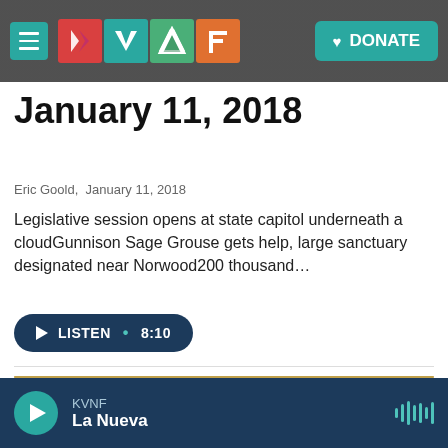KVNF • DONATE
January 11, 2018
Eric Goold,  January 11, 2018
Legislative session opens at state capitol underneath a cloudGunnison Sage Grouse gets help, large sanctuary designated near Norwood200 thousand…
LISTEN • 8:10
[Figure (photo): Close-up photo of a Sage Grouse displaying its tail feathers and inflated breast sac against a tan/golden grassy background]
KVNF
La Nueva